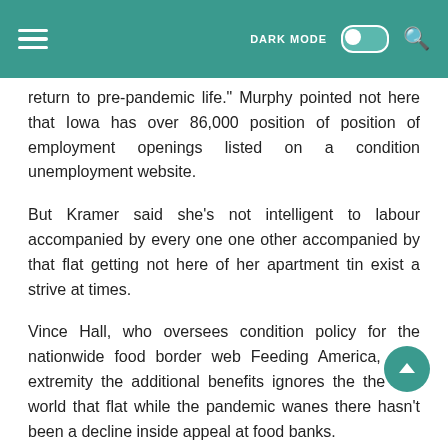DARK MODE [toggle]
return to pre-pandemic life." Murphy pointed not here that Iowa has over 86,000 position of position of employment openings listed on a condition unemployment website.
But Kramer said she's not intelligent to labour accompanied by every one one other accompanied by that flat getting not here of her apartment tin exist a strive at times.
Vince Hall, who oversees condition policy for the nationwide food border web Feeding America, said extremity the additional benefits ignores the the real world that flat while the pandemic wanes there hasn't been a decline inside appeal at food banks.
Wages have been increasing inside the United States accompanied by every one one other accompanied by